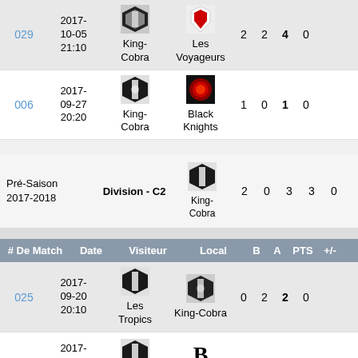| # De Match | Date | Visiteur | Local | B | A | PTS | +/- |
| --- | --- | --- | --- | --- | --- | --- | --- |
| 029 | 2017-10-05 21:10 | King-Cobra | Les Voyageurs | 2 | 2 | 4 | 0 |
| 006 | 2017-09-27 20:20 | King-Cobra | Black Knights | 1 | 0 | 1 | 0 |
| Pré-Saison 2017-2018 | Division - C2 | King-Cobra |  | 2 | 0 | 3 | 3 |
| # De Match | Date | Visiteur | Local | B | A | PTS | +/- |
| 025 | 2017-09-20 20:10 | Les Tropics | King-Cobra | 0 | 2 | 2 | 0 |
|  | 2017- |  | B |  |  |  |  |